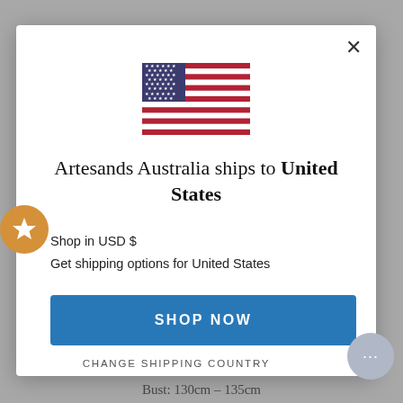[Figure (screenshot): US flag icon displayed at top center of modal dialog]
Artesands Australia ships to United States
Shop in USD $
Get shipping options for United States
SHOP NOW
CHANGE SHIPPING COUNTRY
Bust: 130cm – 135cm